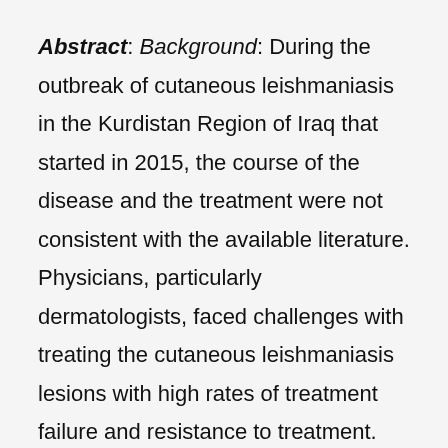Abstract: Background: During the outbreak of cutaneous leishmaniasis in the Kurdistan Region of Iraq that started in 2015, the course of the disease and the treatment were not consistent with the available literature. Physicians, particularly dermatologists, faced challenges with treating the cutaneous leishmaniasis lesions with high rates of treatment failure and resistance to treatment. We used Q-methodology to understand the range and diversities of opinions and the practical experiences of dermatologists about the treatment difficulties of cutaneous leishmaniasis. Methods: This Q-methodology study was carried